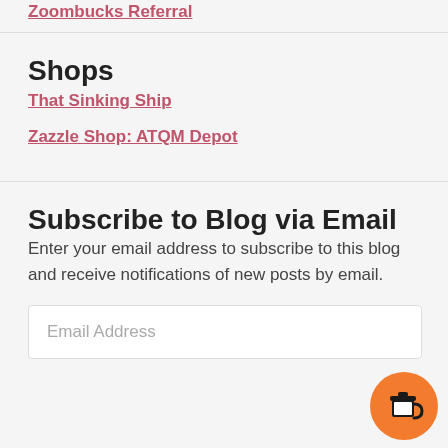Zoombucks Referral
Shops
That Sinking Ship
Zazzle Shop: ATQM Depot
Subscribe to Blog via Email
Enter your email address to subscribe to this blog and receive notifications of new posts by email.
Email Address
[Figure (illustration): Orange circular button with a coffee cup icon]